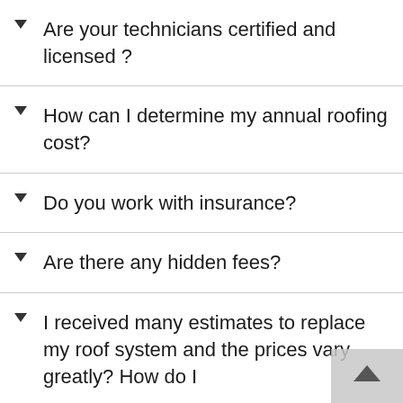Are your technicians certified and licensed ?
How can I determine my annual roofing cost?
Do you work with insurance?
Are there any hidden fees?
I received many estimates to replace my roof system and the prices vary greatly? How do I